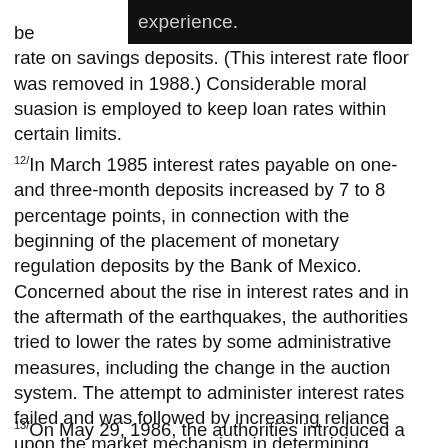be experience. rate on savings deposits. (This interest rate floor was removed in 1988.) Considerable moral suasion is employed to keep loan rates within certain limits.
12/ In March 1985 interest rates payable on one- and three-month deposits increased by 7 to 8 percentage points, in connection with the beginning of the placement of monetary regulation deposits by the Bank of Mexico. Concerned about the rise in interest rates and in the aftermath of the earthquakes, the authorities tried to lower the rates by some administrative measures, including the change in the auction system. The attempt to administer interest rates failed and was followed by increasing reliance upon the market mechanism in determining interest rates. The system of auctions of securities that was suspended since November 1985 was reinstated in July 1986.
13/ On May 29, 1986, the authorities introduced a